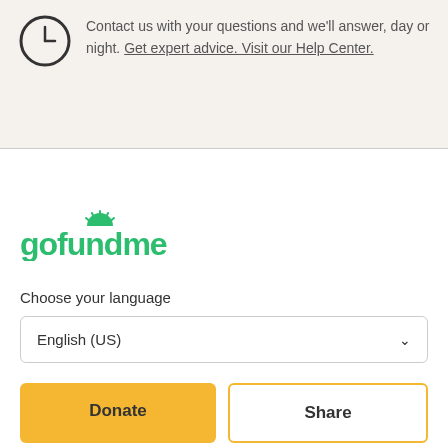[Figure (illustration): Partial clock/timer icon (circle with a clock-like symbol, cropped at top-left)]
Contact us with your questions and we'll answer, day or night. Get expert advice. Visit our Help Center.
[Figure (logo): GoFundMe logo — green wordmark with stylized sun icon above the 'u']
Choose your language
English (US)
Donate
Share